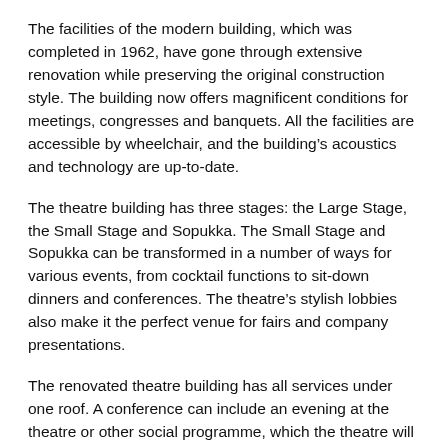The facilities of the modern building, which was completed in 1962, have gone through extensive renovation while preserving the original construction style. The building now offers magnificent conditions for meetings, congresses and banquets. All the facilities are accessible by wheelchair, and the building's acoustics and technology are up-to-date.
The theatre building has three stages: the Large Stage, the Small Stage and Sopukka. The Small Stage and Sopukka can be transformed in a number of ways for various events, from cocktail functions to sit-down dinners and conferences. The theatre's stylish lobbies also make it the perfect venue for fairs and company presentations.
The renovated theatre building has all services under one roof. A conference can include an evening at the theatre or other social programme, which the theatre will provide according to bookings. A high-quality restaurant will also open its doors in the theatre building and provide all on-site